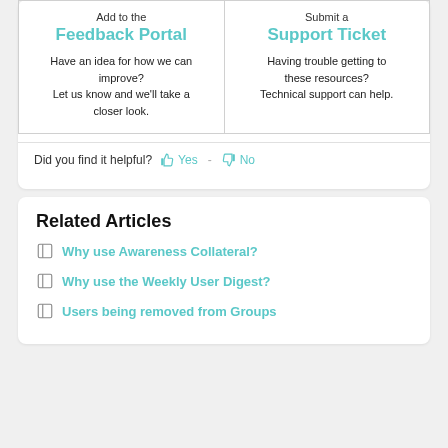| Add to the Feedback Portal | Submit a Support Ticket |
| --- | --- |
| Have an idea for how we can improve? Let us know and we'll take a closer look. | Having trouble getting to these resources? Technical support can help. |
Did you find it helpful? 👍 Yes  - 👎 No
Related Articles
Why use Awareness Collateral?
Why use the Weekly User Digest?
Users being removed from Groups